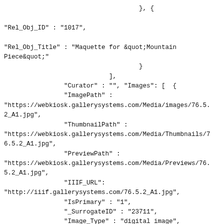}, {
"Rel_Obj_ID" : "1017",
"Rel_Obj_Title" : "Maquette for &quot;Mountain Piece&quot;"
                                    }
                            ],
                "Curator" : "", "Images": [  {
                "ImagePath" :
"https://webkiosk.gallerysystems.com/Media/images/76.5.2_A1.jpg",
                "ThumbnailPath" :
"https://webkiosk.gallerysystems.com/Media/Thumbnails/76.5.2_A1.jpg",
                "PreviewPath" :
"https://webkiosk.gallerysystems.com/Media/Previews/76.5.2_A1.jpg",
                "IIIF_URL":
"http://iiif.gallerysystems.com/76.5.2_A1.jpg",
                "IsPrimary" : "1",
                "_SurrogateID" : "23711",
                "Image_Type" : "digital image",
                "Photo_Credit" : "",
                "Remarks" : "",
                "View" : "" } , ]
                },
        ]
}